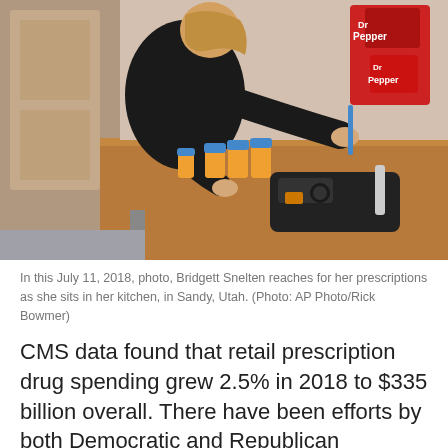[Figure (photo): A woman in a black shirt reaches across a wooden kitchen table toward several prescription medicine bottles with blue and orange caps, and a black medical pouch with supplies. Dr Pepper bags are visible in the background.]
In this July 11, 2018, photo, Bridgett Snelten reaches for her prescriptions as she sits in her kitchen, in Sandy, Utah. (Photo: AP Photo/Rick Bowmer)
CMS data found that retail prescription drug spending grew 2.5% in 2018 to $335 billion overall. There have been efforts by both Democratic and Republican lawmakers to curb the prices of prescription drugs, although an attempt by the Trump administration for more price transparency